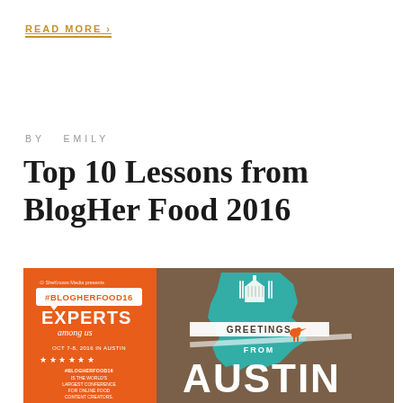READ MORE >
BY  EMILY
Top 10 Lessons from BlogHer Food 2016
[Figure (infographic): BlogHer Food 2016 conference promotional image with orange left panel showing #BLOGHERFOOD16 hashtag, 'EXPERTS among us' text, 'OCT 7-8, 2016 in AUSTIN', star rating row, and '#BLOGHERFOOD16 IS THE WORLD'S LARGEST CONFERENCE FOR ONLINE FOOD CONTENT CREATORS.' text. Right panel shows a brown background with teal Texas state outline and 'GREETINGS FROM AUSTIN' retro postcard design with Austin capitol building illustration.]